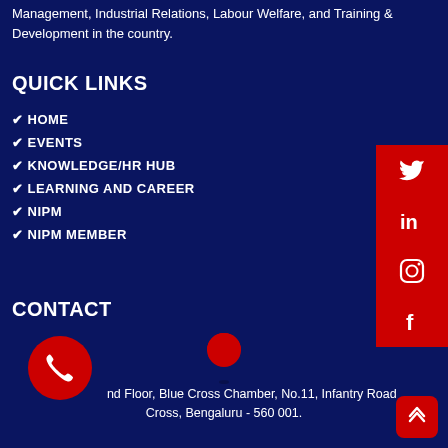Management, Industrial Relations, Labour Welfare, and Training & Development in the country.
QUICK LINKS
HOME
EVENTS
KNOWLEDGE/HR HUB
LEARNING AND CAREER
NIPM
NIPM MEMBER
CONTACT
[Figure (illustration): Social media sidebar with Twitter, LinkedIn, Instagram, and Facebook icons on red background]
[Figure (illustration): Red location pin map marker icon]
G nd Floor, Blue Cross Chamber, No.11, Infantry Road Cross, Bengaluru - 560 001.
[Figure (illustration): Red circle with white phone icon]
[Figure (illustration): Red rounded square with white double up chevron scroll-to-top button]